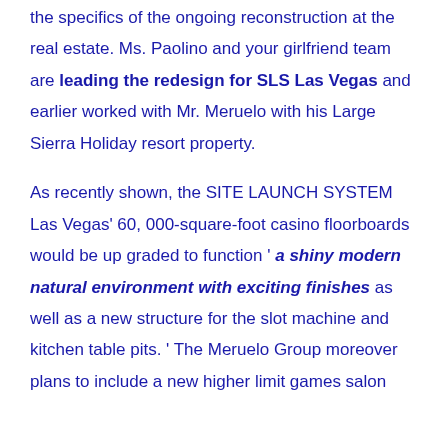the specifics of the ongoing reconstruction at the real estate. Ms. Paolino and your girlfriend team are leading the redesign for SLS Las Vegas and earlier worked with Mr. Meruelo with his Large Sierra Holiday resort property.

As recently shown, the SITE LAUNCH SYSTEM Las Vegas' 60, 000-square-foot casino floorboards would be up graded to function ' a shiny modern natural environment with exciting finishes as well as a new structure for the slot machine and kitchen table pits. ' The Meruelo Group moreover plans to include a new higher limit games salon